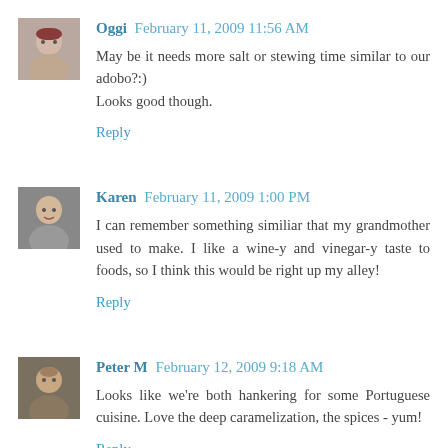Oggi  February 11, 2009 11:56 AM
May be it needs more salt or stewing time similar to our adobo?:)
Looks good though.
Reply
Karen  February 11, 2009 1:00 PM
I can remember something similiar that my grandmother used to make. I like a wine-y and vinegar-y taste to foods, so I think this would be right up my alley!
Reply
Peter M  February 12, 2009 9:18 AM
Looks like we're both hankering for some Portuguese cuisine. Love the deep caramelization, the spices - yum!
Reply